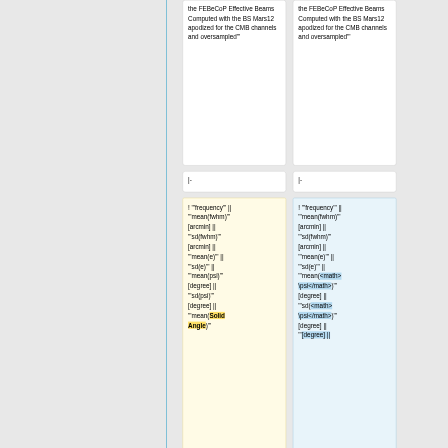the FEBeCoP Effective Beams Computed with the BS Mars12 apodized for the CMB channels and oversampled'"
the FEBeCoP Effective Beams Computed with the BS Mars12 apodized for the CMB channels and oversampled'"
|-
|-
! '"frequency'" || '"mean(fwhm)'" [arcmin] || '"sd(fwhm)'" [arcmin] || '"mean(e)'" || '"sd(e)'" || '"mean(psi)'" [degree] || '"sd(psi)'" [degree] || '"mean(Solid Angle)'"
! '"frequency'" || '"mean(fwhm)'" [arcmin] || '"sd(fwhm)'" [arcmin] || '"mean(e)'" || '"sd(e)'" || '"mean(<math>\psi</math>)'" [degree] || '"sd(<math>\psi</math>)'" [degree] || [degree] ||